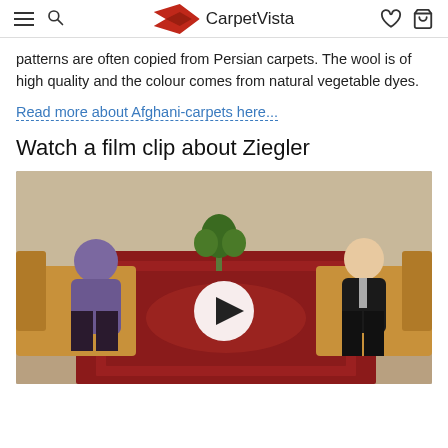CarpetVista
patterns are often copied from Persian carpets. The wool is of high quality and the colour comes from natural vegetable dyes.
Read more about Afghani-carpets here...
Watch a film clip about Ziegler
[Figure (photo): Video thumbnail showing two people seated in armchairs with a red Ziegler carpet between them and a plant in the background, with a play button overlay in the center.]